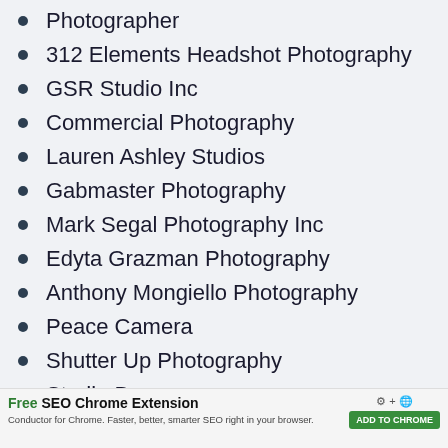Photographer
312 Elements Headshot Photography
GSR Studio Inc
Commercial Photography
Lauren Ashley Studios
Gabmaster Photography
Mark Segal Photography Inc
Edyta Grazman Photography
Anthony Mongiello Photography
Peace Camera
Shutter Up Photography
Studio B
Photo Pros
[Figure (screenshot): Advertisement banner: Free SEO Chrome Extension by Conductor for Chrome. Faster, better, smarter SEO right in your browser. ADD TO CHROME button.]